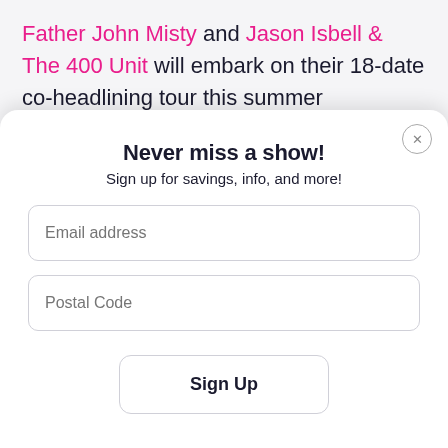Father John Misty and Jason Isbell & The 400 Unit will embark on their 18-date co-headlining tour this summer 2019
Never miss a show!
Sign up for savings, info, and more!
Email address
Postal Code
Sign Up